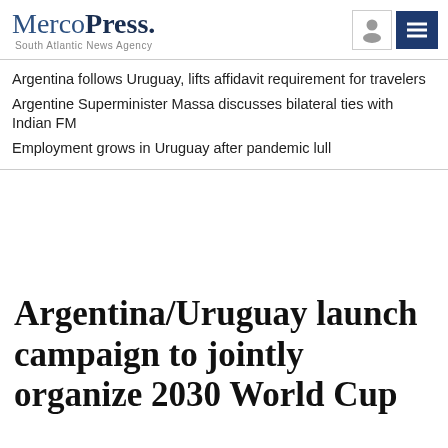MercoPress. South Atlantic News Agency
Argentina follows Uruguay, lifts affidavit requirement for travelers
Argentine Superminister Massa discusses bilateral ties with Indian FM
Employment grows in Uruguay after pandemic lull
Argentina/Uruguay launch campaign to jointly organize 2030 World Cup